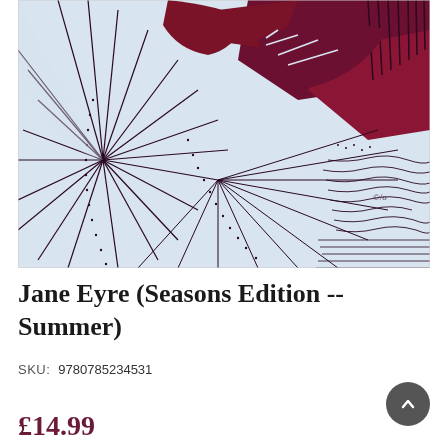[Figure (illustration): A linocut-style illustration on a pale blue-grey background showing tropical/jungle foliage with bold dark maroon/burgundy and white patterns, featuring leaves, dotted lines, and abstract shapes in a woodblock print aesthetic.]
Jane Eyre (Seasons Edition -- Summer)
SKU: 9780785234531
£14.99